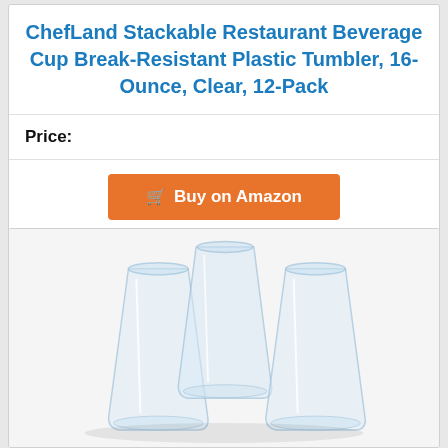ChefLand Stackable Restaurant Beverage Cup Break-Resistant Plastic Tumbler, 16-Ounce, Clear, 12-Pack
Price:
Buy on Amazon
[Figure (photo): Three clear plastic stackable tumblers/cups arranged on a white background, showing the ChefLand 16-ounce break-resistant plastic tumbler product.]